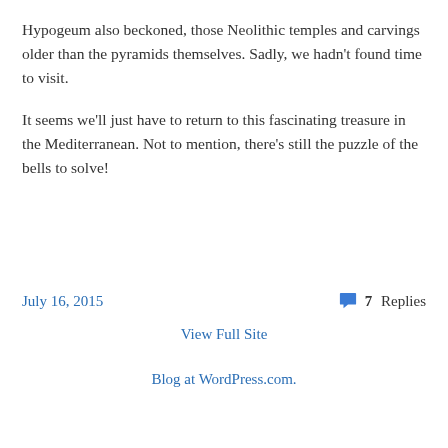Hypogeum also beckoned, those Neolithic temples and carvings older than the pyramids themselves. Sadly, we hadn't found time to visit.
It seems we'll just have to return to this fascinating treasure in the Mediterranean. Not to mention, there's still the puzzle of the bells to solve!
July 16, 2015
7 Replies
View Full Site
Blog at WordPress.com.